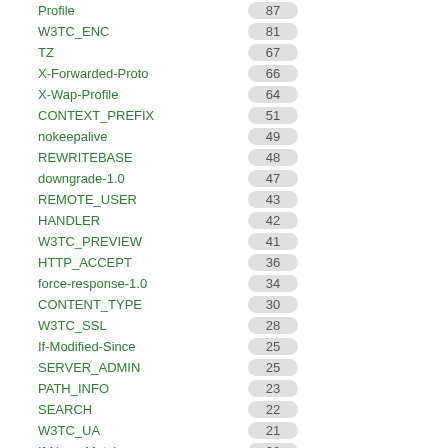Profile  87
W3TC_ENC  81
TZ  67
X-Forwarded-Proto  66
X-Wap-Profile  64
CONTEXT_PREFIX  51
nokeepalive  49
REWRITEBASE  48
downgrade-1.0  47
REMOTE_USER  43
HANDLER  42
W3TC_PREVIEW  41
HTTP_ACCEPT  36
force-response-1.0  34
CONTENT_TYPE  30
W3TC_SSL  28
If-Modified-Since  25
SERVER_ADMIN  25
PATH_INFO  23
SEARCH  22
W3TC_UA  21
If-None-Match  20
REMOTE_HOST  20
W3TC_REF  19
CONNECTION  16